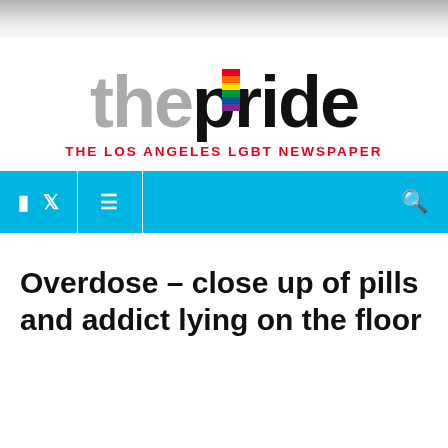[Figure (logo): The Pride LA LGBT Newspaper logo with rainbow stripe on the letter 'i' in pride]
Overdose – close up of pills and addict lying on the floor